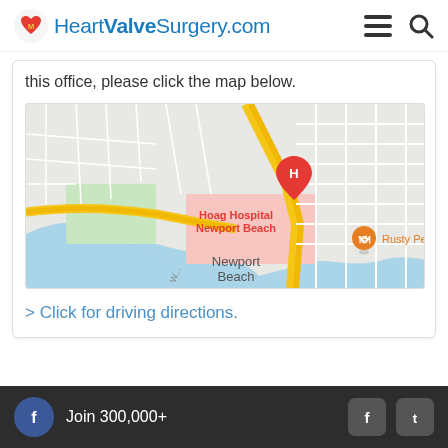HeartValveSurgery.com
this office, please click the map below.
[Figure (map): Google Maps showing Hoag Hospital Newport Beach area with Rusty Pelican marker and Newport Beach waterfront]
> Click for driving directions.
Join 300,000+